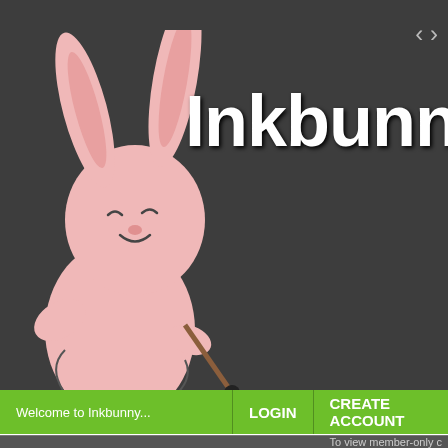[Figure (screenshot): Inkbunny website header showing a pink rabbit mascot holding a paintbrush, the site logo 'Inkbunny' in white bold text on dark gray background, navigation arrows top right, a green navigation bar with 'Welcome to Inkbunny...', 'LOGIN', and 'CREATE ACCOUNT' options, a member-only content notice, and a gray gallery area showing two image thumbnails and an '« older' pagination link. One thumbnail shows a sketch labeled 'MUENSTER & MOZZARELLA' with animal characters, the other shows a pixel-art image with text 'I HAVE MORE MEAN THINGS TO SAY!'. Text 'Uns' and 'Bride M' are partially visible. Bottom white area shows partial character illustration.]
Inkbunny
Welcome to Inkbunny...
LOGIN
CREATE ACCOUNT
To view member-only c
« older
Uns
Bride M